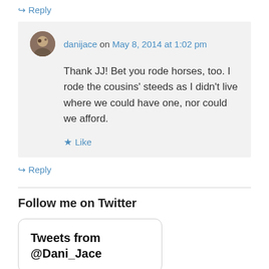↳ Reply
danijace on May 8, 2014 at 1:02 pm
Thank JJ! Bet you rode horses, too. I rode the cousins' steeds as I didn't live where we could have one, nor could we afford.
★ Like
↳ Reply
Follow me on Twitter
Tweets from @Dani_Jace